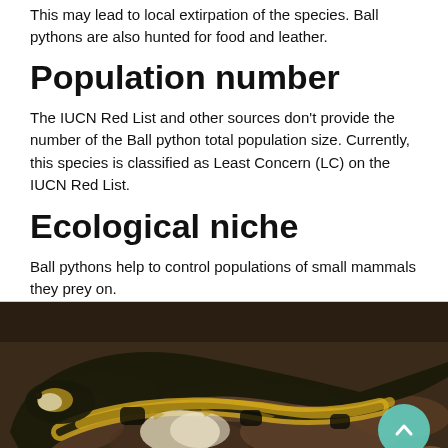This may lead to local extirpation of the species. Ball pythons are also hunted for food and leather.
Population number
The IUCN Red List and other sources don't provide the number of the Ball python total population size. Currently, this species is classified as Least Concern (LC) on the IUCN Red List.
Ecological niche
Ball pythons help to control populations of small mammals they prey on.
[Figure (photo): Close-up photo of a ball python snake coiled on rocky/leaf-covered ground, showing its distinctive dark and golden-yellow patterned scales]